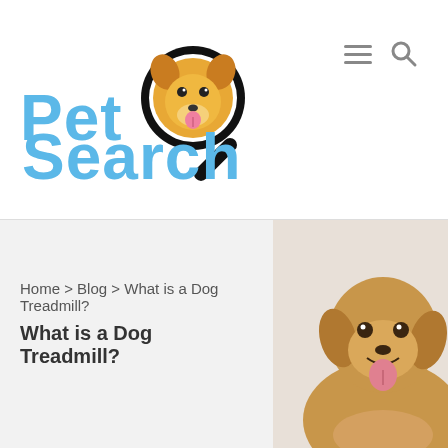[Figure (logo): Pet Search logo with magnifying glass containing a cartoon corgi dog face, blue text reading Pet Search]
[Figure (illustration): Hamburger menu icon (three horizontal lines) and search magnifying glass icon in gray]
Home > Blog > What is a Dog Treadmill?
What is a Dog Treadmill?
[Figure (photo): Golden retriever puppy looking at camera with mouth open and tongue out, against light background]